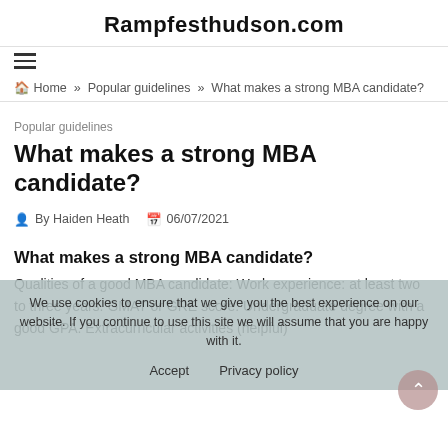Rampfesthudson.com
≡
🏠 Home » Popular guidelines » What makes a strong MBA candidate?
Popular guidelines
What makes a strong MBA candidate?
By Haiden Heath   06/07/2021
What makes a strong MBA candidate?
Qualities of a good MBA candidate: Work experience: at least two to three years. GMAT or GRE score. Undergraduate degree with a good GPA. Extracurricular activities (helpful)